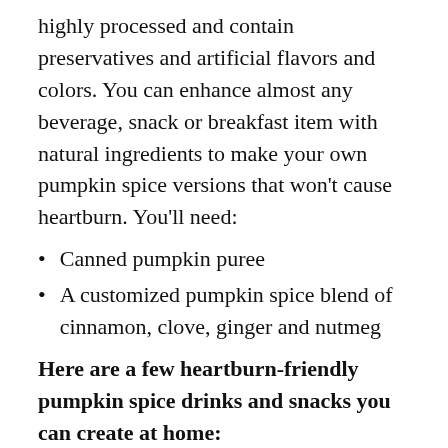highly processed and contain preservatives and artificial flavors and colors. You can enhance almost any beverage, snack or breakfast item with natural ingredients to make your own pumpkin spice versions that won't cause heartburn. You'll need:
Canned pumpkin puree
A customized pumpkin spice blend of cinnamon, clove, ginger and nutmeg
Here are a few heartburn-friendly pumpkin spice drinks and snacks you can create at home:
Pumpkin Spice Latte — Make this fall classic at home by warming some almond milk on the stove. Stir in 1 tablespoon of pumpkin